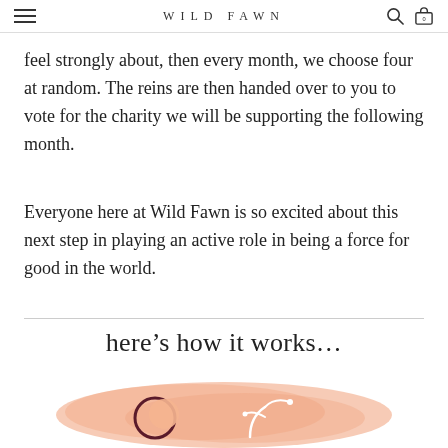WILD FAWN
feel strongly about, then every month, we choose four at random. The reins are then handed over to you to vote for the charity we will be supporting the following month.
Everyone here at Wild Fawn is so excited about this next step in playing an active role in being a force for good in the world.
here’s how it works…
[Figure (illustration): Watercolor peach/salmon background with a dark maroon circular crescent moon symbol and a white plant/leaf sprout illustration, representing the Wild Fawn charity initiative.]